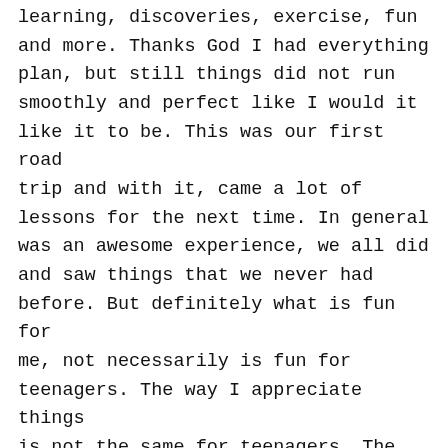learning, discoveries, exercise, fun and more. Thanks God I had everything plan, but still things did not run smoothly and perfect like I would it like it to be. This was our first road trip and with it, came a lot of lessons for the next time. In general was an awesome experience, we all did and saw things that we never had before. But definitely what is fun for me, not necessarily is fun for teenagers. The way I appreciate things is not the same for teenagers. The endurance that I could have for the day, it's not the same for everybody in the group. I love learning about different places, I have travel inscriptive in my mind and soul. I